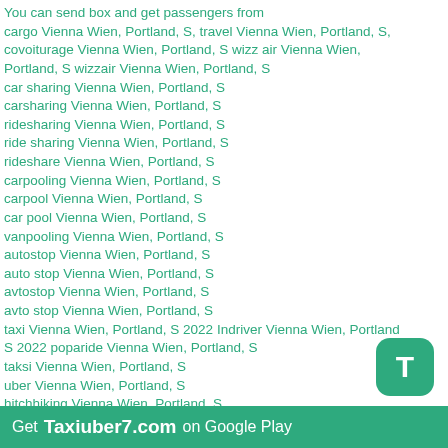You can send box and get passengers from cargo Vienna Wien, Portland, S, travel Vienna Wien, Portland, S, covoiturage Vienna Wien, Portland, S wizz air Vienna Wien, Portland, S wizzair Vienna Wien, Portland, S car sharing Vienna Wien, Portland, S carsharing Vienna Wien, Portland, S ridesharing Vienna Wien, Portland, S ride sharing Vienna Wien, Portland, S rideshare Vienna Wien, Portland, S carpooling Vienna Wien, Portland, S carpool Vienna Wien, Portland, S car pool Vienna Wien, Portland, S vanpooling Vienna Wien, Portland, S autostop Vienna Wien, Portland, S auto stop Vienna Wien, Portland, S avtostop Vienna Wien, Portland, S avto stop Vienna Wien, Portland, S taxi Vienna Wien, Portland, S 2022 Indriver Vienna Wien, Portland, S 2022 poparide Vienna Wien, Portland, S taksi Vienna Wien, Portland, S uber Vienna Wien, Portland, S hitchhiking Vienna Wien, Portland, S mitfahrgelegenheit Vienna Wien, Portland, S бла бла такси Vienna Wien, Portland, S plaplacar Vienna Wien, Portland, S бла бла машина Vienna Wien, Portland, S.
[Figure (logo): Green rounded square icon with white letter T]
Get Taxiuber7.com on Google Play